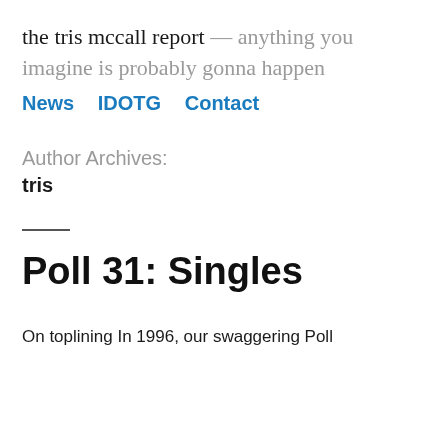the tris mccall report — anything you imagine is probably gonna happen
News   IDOTG   Contact
Author Archives:
tris
Poll 31: Singles
On toplining In 1996, our swaggering Poll